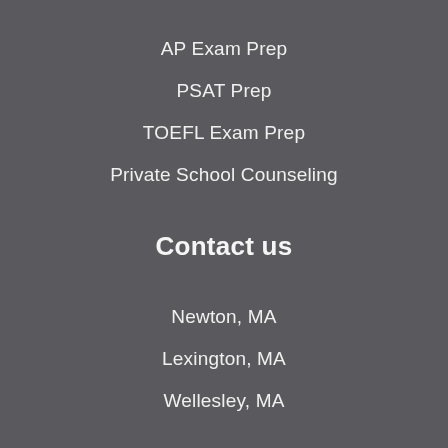AP Exam Prep
PSAT Prep
TOEFL Exam Prep
Private School Counseling
Contact us
Newton, MA
Lexington, MA
Wellesley, MA